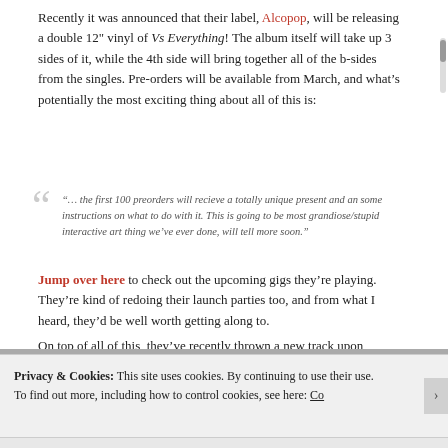Recently it was announced that their label, Alcopop, will be releasing a double 12" vinyl of Vs Everything! The album itself will take up 3 sides of it, while the 4th side will bring together all of the b-sides from the singles. Pre-orders will be available from March, and what's potentially the most exciting thing about all of this is:
"... the first 100 preorders will recieve a totally unique present and an some instructions on what to do with it. This is going to be most grandiose/stupid interactive art thing we've ever done, will tell more soon."
Jump over here to check out the upcoming gigs they're playing. They're kind of redoing their launch parties too, and from what I heard, they'd be well worth getting along to.
On top of all of this, they've recently thrown a new track upon SoundCloud called "(small fraud)". It's from the Vs Everything album sessions, and it's a spoken-word piece against a busy, whirring, electronic back-drop. Most bands can't pull this stuff off, but Alexei's ability to turn a phrase can't be rivalled by many, and it kind of works for them.
Take a listen below! And if the SoundCloud downloads are all gone, grab it for free here!
Privacy & Cookies: This site uses cookies. By continuing to use their use. To find out more, including how to control cookies, see here: Co